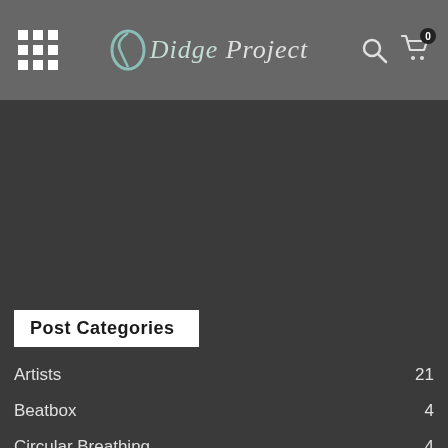Didge Project — navigation header with grid menu icon, logo, search icon, and cart with 0 items
Post Categories
Artists 21
Beatbox 4
Circular Breathing 4
Didgeridoo Lessons 23
Featured Events 4
Film 1
Handpan 35